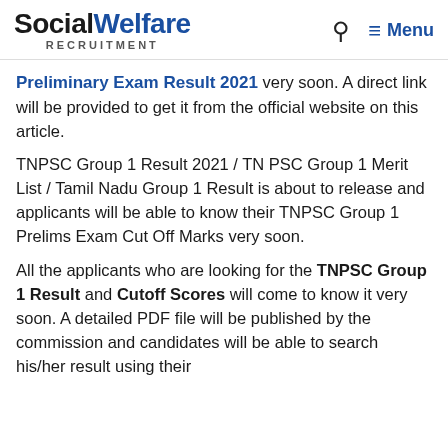Social Welfare Recruitment — Menu (navigation header)
Preliminary Exam Result 2021 very soon. A direct link will be provided to get it from the official website on this article.
TNPSC Group 1 Result 2021 / TN PSC Group 1 Merit List / Tamil Nadu Group 1 Result is about to release and applicants will be able to know their TNPSC Group 1 Prelims Exam Cut Off Marks very soon.
All the applicants who are looking for the TNPSC Group 1 Result and Cutoff Scores will come to know it very soon. A detailed PDF file will be published by the commission and candidates will be able to search his/her result using their